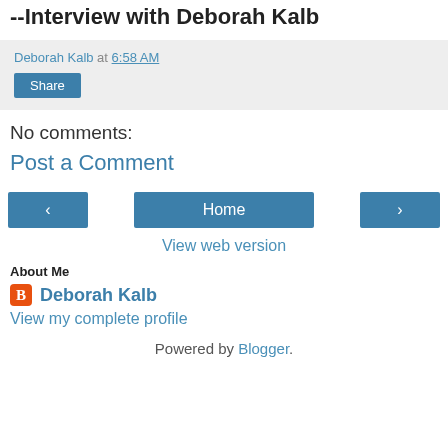--Interview with Deborah Kalb
Deborah Kalb at 6:58 AM
Share
No comments:
Post a Comment
< Home >
View web version
About Me
Deborah Kalb
View my complete profile
Powered by Blogger.